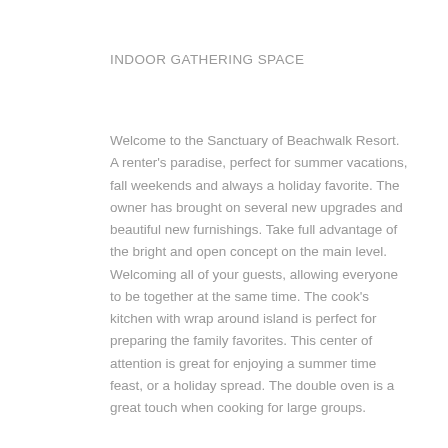INDOOR GATHERING SPACE
Welcome to the Sanctuary of Beachwalk Resort. A renter’s paradise, perfect for summer vacations, fall weekends and always a holiday favorite. The owner has brought on several new upgrades and beautiful new furnishings. Take full advantage of the bright and open concept on the main level. Welcoming all of your guests, allowing everyone to be together at the same time. The cook’s kitchen with wrap around island is perfect for preparing the family favorites. This center of attention is great for enjoying a summer time feast, or a holiday spread. The double oven is a great touch when cooking for large groups.